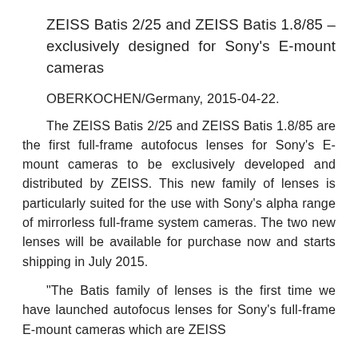ZEISS Batis 2/25 and ZEISS Batis 1.8/85 – exclusively designed for Sony's E-mount cameras
OBERKOCHEN/Germany, 2015-04-22.
The ZEISS Batis 2/25 and ZEISS Batis 1.8/85 are the first full-frame autofocus lenses for Sony's E-mount cameras to be exclusively developed and distributed by ZEISS. This new family of lenses is particularly suited for the use with Sony's alpha range of mirrorless full-frame system cameras. The two new lenses will be available for purchase now and starts shipping in July 2015.
"The Batis family of lenses is the first time we have launched autofocus lenses for Sony's full-frame E-mount cameras which are ZEISS